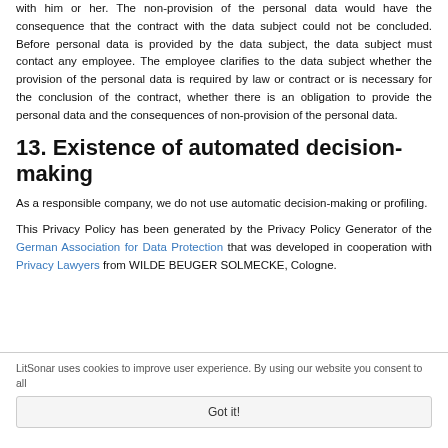with him or her. The non-provision of the personal data would have the consequence that the contract with the data subject could not be concluded. Before personal data is provided by the data subject, the data subject must contact any employee. The employee clarifies to the data subject whether the provision of the personal data is required by law or contract or is necessary for the conclusion of the contract, whether there is an obligation to provide the personal data and the consequences of non-provision of the personal data.
13. Existence of automated decision-making
As a responsible company, we do not use automatic decision-making or profiling.
This Privacy Policy has been generated by the Privacy Policy Generator of the German Association for Data Protection that was developed in cooperation with Privacy Lawyers from WILDE BEUGER SOLMECKE, Cologne.
LitSonar uses cookies to improve user experience. By using our website you consent to all cookies. Got it!